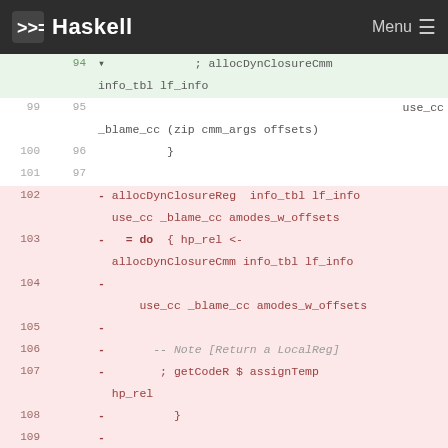Haskell — Menu
Code diff view showing lines 94-111 of a Haskell source file with allocDynClosureReg and allocDynClosureCmm functions. Green lines show added code (lines 94-97), red lines show removed code (lines 102-109), and white lines show context (lines 99-101, 110-111).